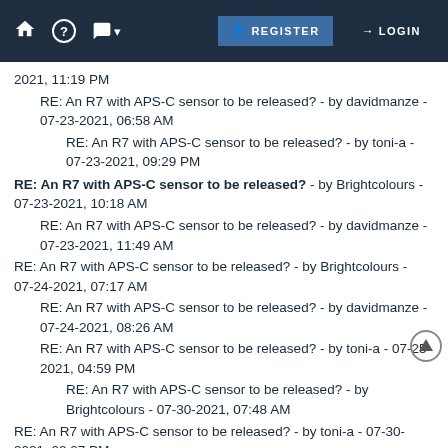REGISTER LOGIN
2021, 11:19 PM
RE: An R7 with APS-C sensor to be released? - by davidmanze - 07-23-2021, 06:58 AM
RE: An R7 with APS-C sensor to be released? - by toni-a - 07-23-2021, 09:29 PM
RE: An R7 with APS-C sensor to be released? - by Brightcolours - 07-23-2021, 10:18 AM
RE: An R7 with APS-C sensor to be released? - by davidmanze - 07-23-2021, 11:49 AM
RE: An R7 with APS-C sensor to be released? - by Brightcolours - 07-24-2021, 07:17 AM
RE: An R7 with APS-C sensor to be released? - by davidmanze - 07-24-2021, 08:26 AM
RE: An R7 with APS-C sensor to be released? - by toni-a - 07-25-2021, 04:59 PM
RE: An R7 with APS-C sensor to be released? - by Brightcolours - 07-30-2021, 07:48 AM
RE: An R7 with APS-C sensor to be released? - by toni-a - 07-30-2021, 08:07 PM
RE: An R7 with APS-C sensor to be released? - by wim - 07-31-2021, 09:17 PM